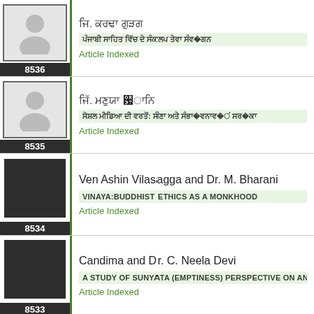[Figure (other): Profile entry 8536 with avatar placeholder and non-Latin author name and article title in non-Latin script, status Article Indexed]
[Figure (other): Profile entry 8535 with avatar placeholder and non-Latin author name and article title in non-Latin script, status Article Indexed]
[Figure (other): Profile entry 8534, author Ven Ashin Vilasagga and Dr. M. Bharani, article VINAYA:BUDDHIST ETHICS AS A MONKHOOD, Article Indexed]
[Figure (other): Profile entry 8533, author Candima and Dr. C. Neela Devi, article A STUDY OF SUNYATA (EMPTINESS) PERSPECTIVE ON ANATT..., Article Indexed]